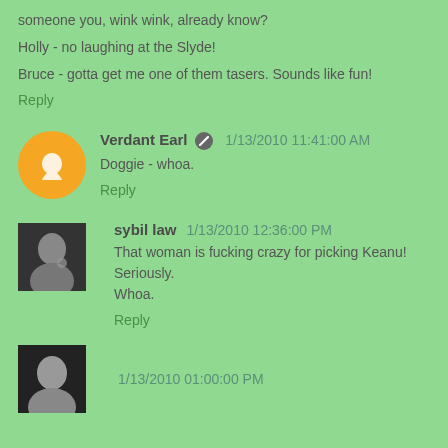someone you, wink wink, already know?
Holly - no laughing at the Slyde!
Bruce - gotta get me one of them tasers. Sounds like fun!
Reply
Verdant Earl  1/13/2010 11:41:00 AM
Doggie - whoa.
Reply
sybil law  1/13/2010 12:36:00 PM
That woman is fucking crazy for picking Keanu!
Seriously.
Whoa.
Reply
1/13/2010 01:00:00 PM